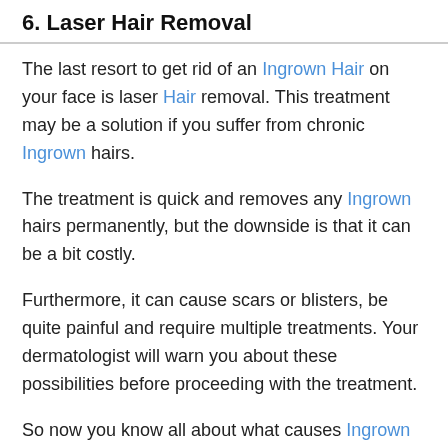6. Laser Hair Removal
The last resort to get rid of an Ingrown Hair on your face is laser Hair removal. This treatment may be a solution if you suffer from chronic Ingrown hairs.
The treatment is quick and removes any Ingrown hairs permanently, but the downside is that it can be a bit costly.
Furthermore, it can cause scars or blisters, be quite painful and require multiple treatments. Your dermatologist will warn you about these possibilities before proceeding with the treatment.
So now you know all about what causes Ingrown facial hairs, how to prevent Ingrown hairs from growing in the first place, and what steps you can